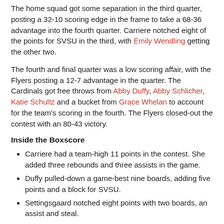The home squad got some separation in the third quarter, posting a 32-10 scoring edge in the frame to take a 68-36 advantage into the fourth quarter. Carriere notched eight of the points for SVSU in the third, with Emily Wendling getting the other two.
The fourth and final quarter was a low scoring affair, with the Flyers posting a 12-7 advantage in the quarter. The Cardinals got free throws from Abby Duffy, Abby Schlicher, Katie Schultz and a bucket from Grace Whelan to account for the team's scoring in the fourth. The Flyers closed-out the contest with an 80-43 victory.
Inside the Boxscore
Carriere had a team-high 11 points in the contest. She added three rebounds and three assists in the game.
Duffy pulled-down a game-best nine boards, adding five points and a block for SVSU.
Settingsgaard notched eight points with two boards, an assist and steal.
Hall chipped-in with seven points, two rebounds, an assist and steal.